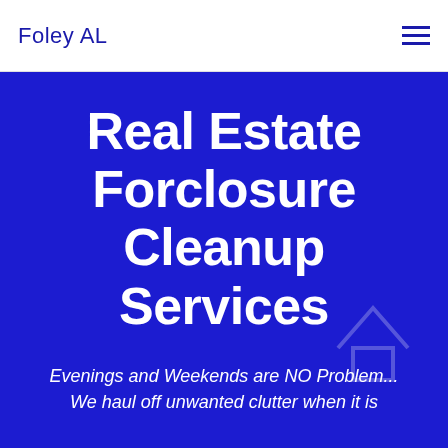Foley AL
Real Estate Forclosure Cleanup Services
Evenings and Weekends are NO Problem... We haul off unwanted clutter when it is